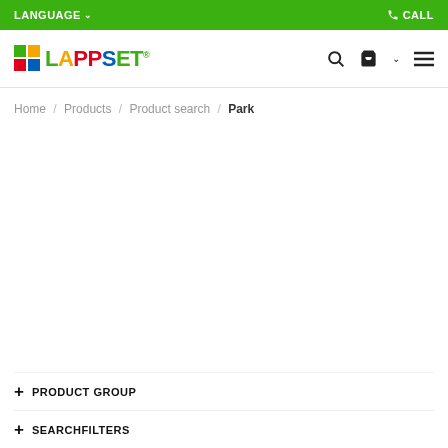LANGUAGE  ▾     ☎ CALL
[Figure (logo): Lappset logo with colorful grid icon and multicolor brand name text]
Home / Products / Product search / Park
+ PRODUCT GROUP
+ SEARCHFILTERS